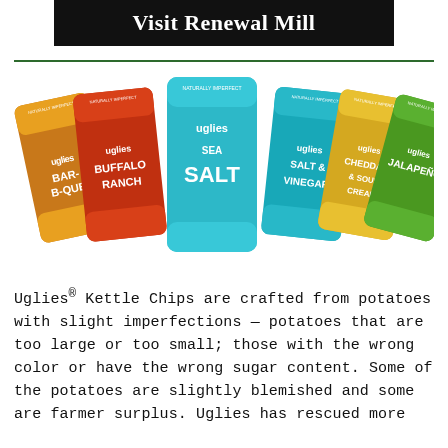Visit Renewal Mill
[Figure (photo): Six bags of Uglies Kettle Chips displayed in a fan arrangement showing flavors: Bar-B-Que, Buffalo Ranch, Sea Salt, Salt & Vinegar, Cheddar & Sour Cream, and Jalapeño]
Uglies® Kettle Chips are crafted from potatoes with slight imperfections — potatoes that are too large or too small; those with the wrong color or have the wrong sugar content. Some of the potatoes are slightly blemished and some are farmer surplus. Uglies has rescued more